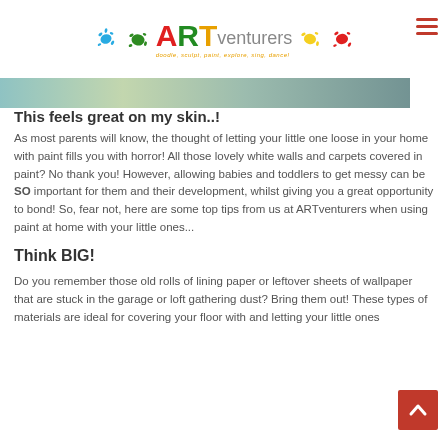ARTventurers — logo with paint splats and tagline: doodle, sculpt, paint, explore, sing, dance!
[Figure (photo): Partial banner image showing a child's hands with paint, blurred background]
This feels great on my skin..!
As most parents will know, the thought of letting your little one loose in your home with paint fills you with horror! All those lovely white walls and carpets covered in paint? No thank you! However, allowing babies and toddlers to get messy can be SO important for them and their development, whilst giving you a great opportunity to bond! So, fear not, here are some top tips from us at ARTventurers when using paint at home with your little ones...
Think BIG!
Do you remember those old rolls of lining paper or leftover sheets of wallpaper that are stuck in the garage or loft gathering dust? Bring them out! These types of materials are ideal for covering your floor with and letting your little ones